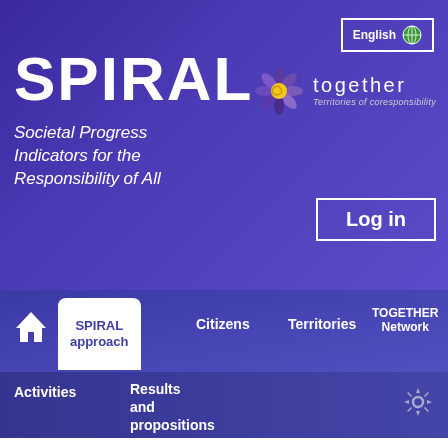English
SPIRAL
Societal Progress Indicators for the Responsibility of All
[Figure (logo): Together - Territories of coresponsibility logo with flower/sun graphic]
Log in
SPIRAL approach
Citizens
Territories
TOGETHER Network
Activities
Results and propositions
What is SPIRAL
SPIRAL Method Wiki
SPIRAL tools
Why SPIRAL
Co-construction principles